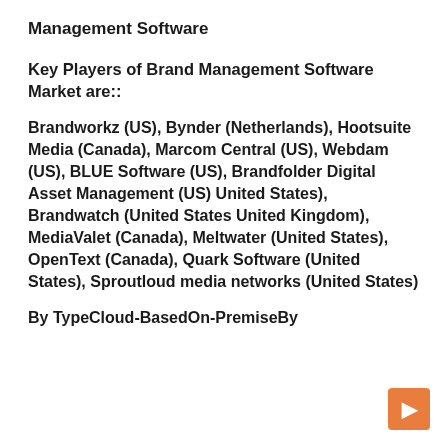Management Software
Key Players of Brand Management Software Market are::
Brandworkz (US), Bynder (Netherlands), Hootsuite Media (Canada), Marcom Central (US), Webdam (US), BLUE Software (US), Brandfolder Digital Asset Management (US) United States), Brandwatch (United States United Kingdom), MediaValet (Canada), Meltwater (United States), OpenText (Canada), Quark Software (United States), Sproutloud media networks (United States)
By TypeCloud-BasedOn-PremiseBy